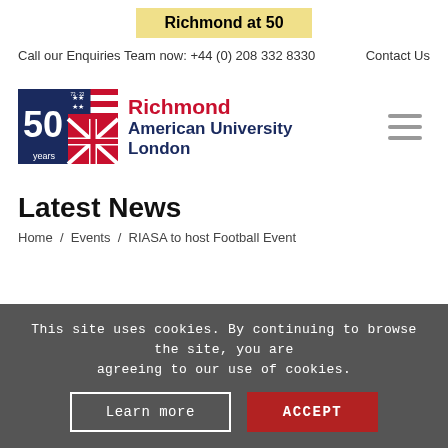Richmond at 50
Call our Enquiries Team now: +44 (0) 208 332 8330    Contact Us
[Figure (logo): Richmond American University London 50 years anniversary logo with US and UK flags]
Latest News
Home / Events / RIASA to host Football Event
This site uses cookies. By continuing to browse the site, you are agreeing to our use of cookies.